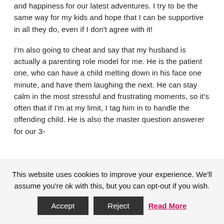and happiness for our latest adventures. I try to be the same way for my kids and hope that I can be supportive in all they do, even if I don't agree with it!
I'm also going to cheat and say that my husband is actually a parenting role model for me. He is the patient one, who can have a child melting down in his face one minute, and have them laughing the next. He can stay calm in the most stressful and frustrating moments, so it's often that if I'm at my limit, I tag him in to handle the offending child. He is also the master question answerer for our 3-
This website uses cookies to improve your experience. We'll assume you're ok with this, but you can opt-out if you wish. Accept Reject Read More